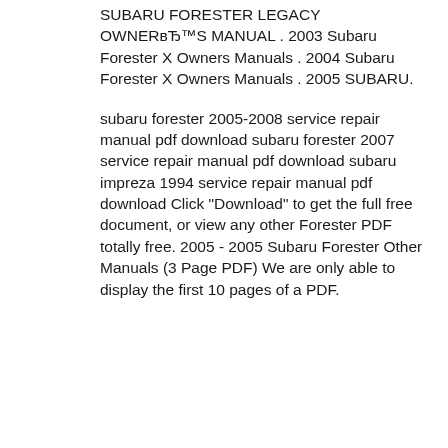SUBARU FORESTER LEGACY OWNER вЂ™S MANUAL . 2003 Subaru Forester X Owners Manuals . 2004 Subaru Forester X Owners Manuals . 2005 SUBARU.
subaru forester 2005-2008 service repair manual pdf download subaru forester 2007 service repair manual pdf download subaru impreza 1994 service repair manual pdf download Click "Download" to get the full free document, or view any other Forester PDF totally free. 2005 - 2005 Subaru Forester Other Manuals (3 Page PDF) We are only able to display the first 10 pages of a PDF.